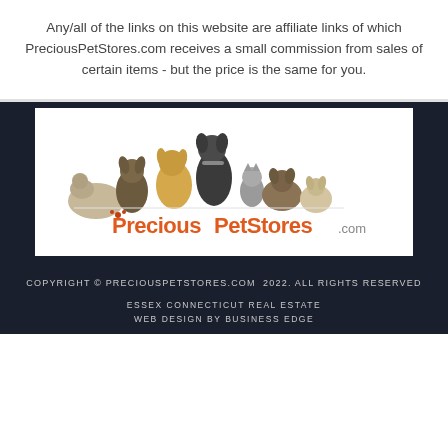Any/all of the links on this website are affiliate links of which PreciousPetStores.com receives a small commission from sales of certain items - but the price is the same for you.
[Figure (logo): PreciousPetStores.com logo with multiple dogs and cats arranged in a row, with the brand name 'PreciousPetStores.com' below in orange and gray text]
COPYRIGHT © PRECIOUSPETSTORES.COM 2022. ALL RIGHTS RESERVED
ESSEX CONNECTICUT REAL ESTATE
WEB DESIGN BY BUSINESS EDGE